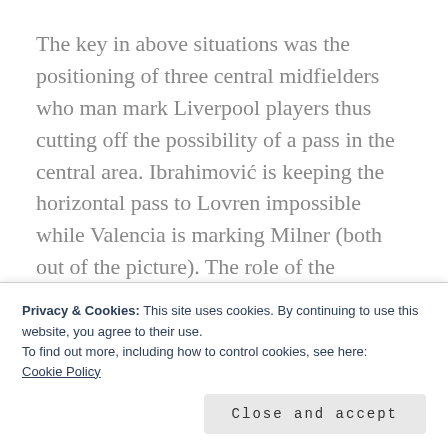The key in above situations was the positioning of three central midfielders who man mark Liverpool players thus cutting off the possibility of a pass in the central area. Ibrahimović is keeping the horizontal pass to Lovren impossible while Valencia is marking Milner (both out of the picture). The role of the Mkhitaryan is crucial. He needs the ability to make the
Privacy & Cookies: This site uses cookies. By continuing to use this website, you agree to their use.
To find out more, including how to control cookies, see here:
Cookie Policy
Close and accept